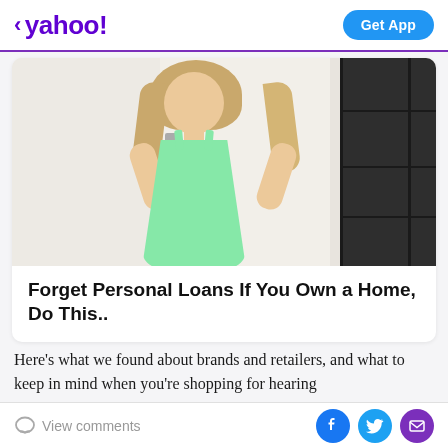< yahoo!  Get App
[Figure (photo): Woman in mint green dress standing with hands on hips in a room]
Forget Personal Loans If You Own a Home, Do This..
Here's what we found about brands and retailers, and what to keep in mind when you're shopping for hearing
View comments  [Facebook] [Twitter] [Email]